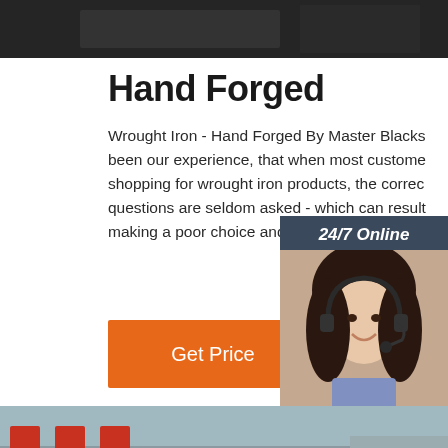[Figure (photo): Dark industrial/machinery photo at top of page]
Hand Forged
Wrought Iron - Hand Forged By Master Blacks... been our experience, that when most custome... shopping for wrought iron products, the correc... questions are seldom asked - which can result making a poor choice and a loss of their inves...
[Figure (photo): Chat widget with 24/7 Online header, female customer service agent with headset, Click here for free chat! text, and QUOTATION button]
[Figure (illustration): Get Price orange button]
[Figure (photo): Industrial factory/manufacturing floor photo at bottom with Chinese characters on building]